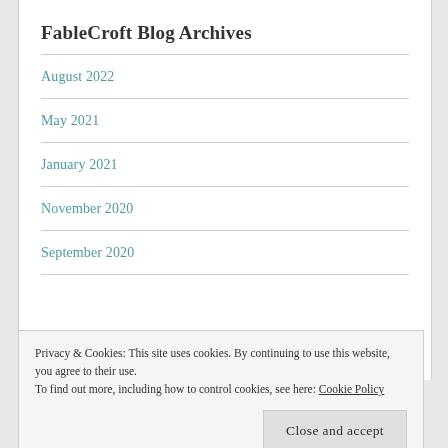FableCroft Blog Archives
August 2022
May 2021
January 2021
November 2020
September 2020
Privacy & Cookies: This site uses cookies. By continuing to use this website, you agree to their use.
To find out more, including how to control cookies, see here: Cookie Policy
Close and accept